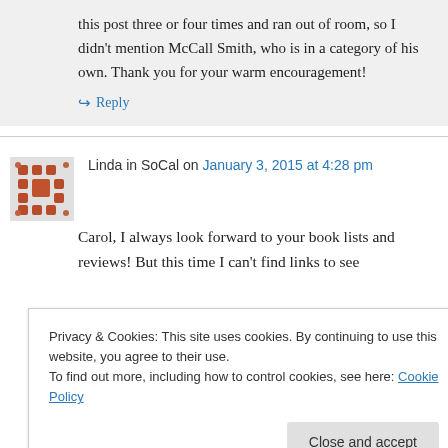this post three or four times and ran out of room, so I didn't mention McCall Smith, who is in a category of his own. Thank you for your warm encouragement!
↪ Reply
Linda in SoCal on January 3, 2015 at 4:28 pm
[Figure (illustration): Pixel art style avatar icon with red/orange square pattern on grey background]
Carol, I always look forward to your book lists and reviews! But this time I can't find links to see
Privacy & Cookies: This site uses cookies. By continuing to use this website, you agree to their use.
To find out more, including how to control cookies, see here: Cookie Policy
Close and accept